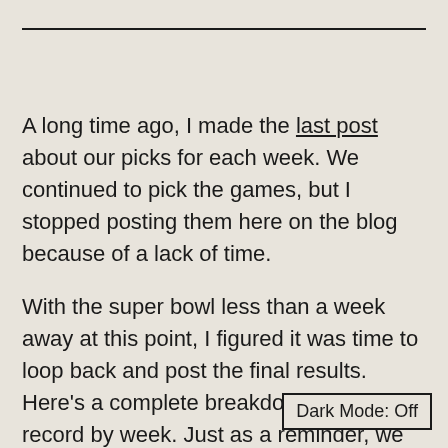A long time ago, I made the last post about our picks for each week. We continued to pick the games, but I stopped posting them here on the blog because of a lack of time.
With the super bowl less than a week away at this point, I figured it was time to loop back and post the final results. Here’s a complete breakdown of our record by week. Just as a reminder, we started in Week 2 ar